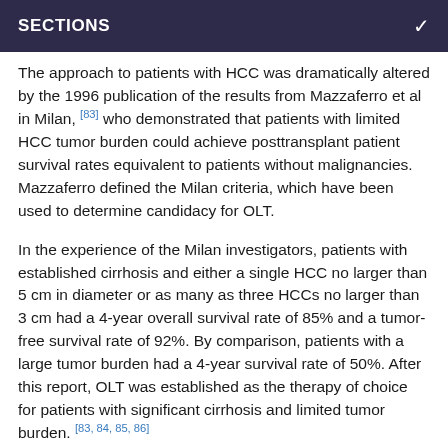SECTIONS
The approach to patients with HCC was dramatically altered by the 1996 publication of the results from Mazzaferro et al in Milan, [83] who demonstrated that patients with limited HCC tumor burden could achieve posttransplant patient survival rates equivalent to patients without malignancies. Mazzaferro defined the Milan criteria, which have been used to determine candidacy for OLT.
In the experience of the Milan investigators, patients with established cirrhosis and either a single HCC no larger than 5 cm in diameter or as many as three HCCs no larger than 3 cm had a 4-year overall survival rate of 85% and a tumor-free survival rate of 92%. By comparison, patients with a large tumor burden had a 4-year survival rate of 50%. After this report, OLT was established as the therapy of choice for patients with significant cirrhosis and limited tumor burden. [83, 84, 85, 86]
These results were subsequently duplicated by several